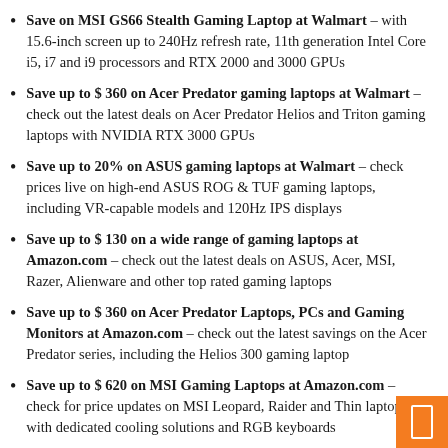Save on MSI GS66 Stealth Gaming Laptop at Walmart – with 15.6-inch screen up to 240Hz refresh rate, 11th generation Intel Core i5, i7 and i9 processors and RTX 2000 and 3000 GPUs
Save up to $ 360 on Acer Predator gaming laptops at Walmart – check out the latest deals on Acer Predator Helios and Triton gaming laptops with NVIDIA RTX 3000 GPUs
Save up to 20% on ASUS gaming laptops at Walmart – check prices live on high-end ASUS ROG & TUF gaming laptops, including VR-capable models and 120Hz IPS displays
Save up to $ 130 on a wide range of gaming laptops at Amazon.com – check out the latest deals on ASUS, Acer, MSI, Razer, Alienware and other top rated gaming laptops
Save up to $ 360 on Acer Predator Laptops, PCs and Gaming Monitors at Amazon.com – check out the latest savings on the Acer Predator series, including the Helios 300 gaming laptop
Save up to $ 620 on MSI Gaming Laptops at Amazon.com – check for price updates on MSI Leopard, Raider and Thin laptops with dedicated cooling solutions and RGB keyboards
Save Up To $ 355 On Top Rated Gaming Laptops At Walmart –